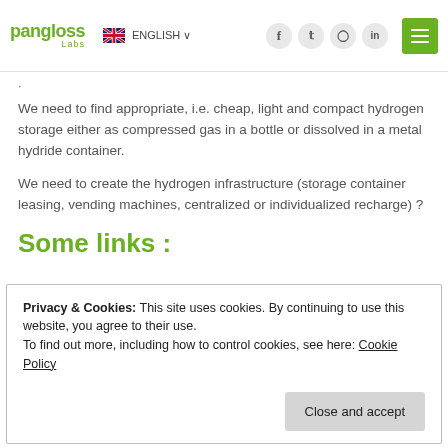pangloss Labs | ENGLISH | social icons | menu
We need to find appropriate, i.e. cheap, light and compact hydrogen storage either as compressed gas in a bottle or dissolved in a metal hydride container.
We need to create the hydrogen infrastructure (storage container leasing, vending machines, centralized or individualized recharge) ?
Some links :
Privacy & Cookies: This site uses cookies. By continuing to use this website, you agree to their use.
To find out more, including how to control cookies, see here: Cookie Policy